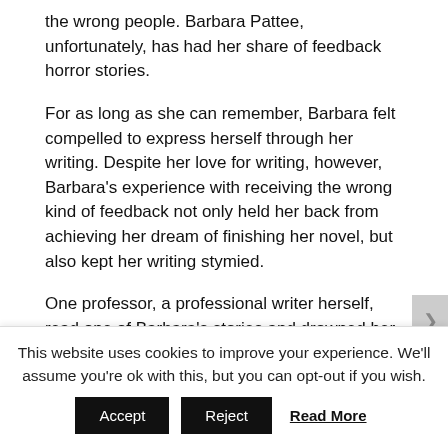the wrong people. Barbara Pattee, unfortunately, has had her share of feedback horror stories.
For as long as she can remember, Barbara felt compelled to express herself through her writing. Despite her love for writing, however, Barbara's experience with receiving the wrong kind of feedback not only held her back from achieving her dream of finishing her novel, but also kept her writing stymied.
One professor, a professional writer herself, read one of Barbara's stories and drowned her
This website uses cookies to improve your experience. We'll assume you're ok with this, but you can opt-out if you wish.